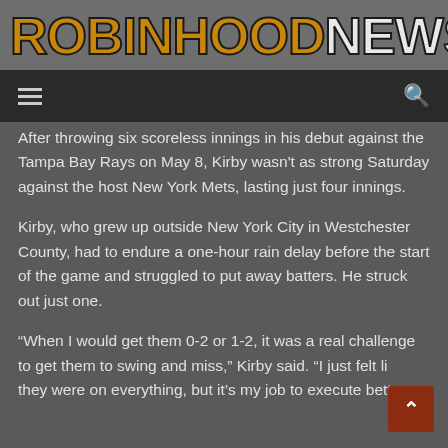ROBINHOODNE WS
After throwing six scoreless innings in his debut against the Tampa Bay Rays on May 8, Kirby wasn't as strong Saturday against the host New York Mets, lasting just four innings.
Kirby, who grew up outside New York City in Westchester County, had to endure a one-hour rain delay before the start of the game and struggled to put away batters. He struck out just one.
“When I would get them 0-2 or 1-2, it was a real challenge to get them to swing and miss,” Kirby said. “I just felt like they were on everything, but it’s my job to execute better.